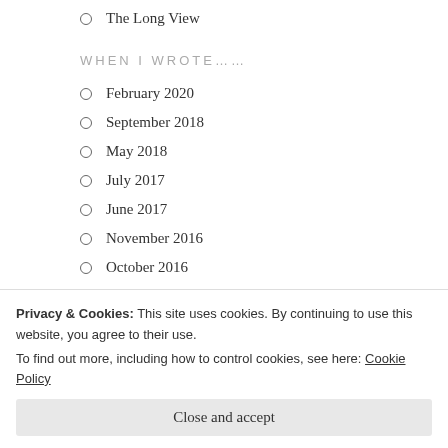The Long View
WHEN I WROTE……
February 2020
September 2018
May 2018
July 2017
June 2017
November 2016
October 2016
May 2016
April 2016
Privacy & Cookies: This site uses cookies. By continuing to use this website, you agree to their use.
To find out more, including how to control cookies, see here: Cookie Policy
Close and accept